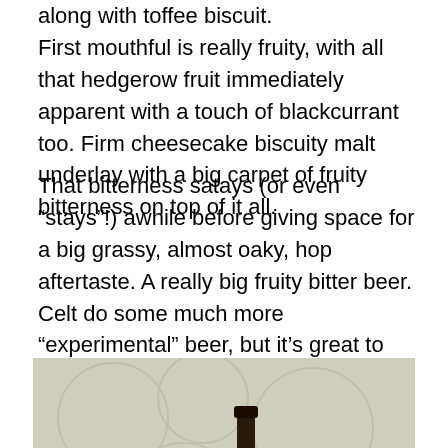along with toffee biscuit. First mouthful is really fruity, with all that hedgerow fruit immediately apparent with a touch of blackcurrant too. Firm cheesecake biscuity malt underlay with a big carpet of fruity bitterness on top of it all.
That bitterness satays (or even “stays”!) awhile before giving space for a big grassy, almost oaky, hop aftertaste. A really big fruity bitter beer. Celt do some much more “experimental” beer, but it’s great to see them getting a beer as traditional as this, just right. Much maligned is bitter, as a style, but this, for me, is a fine example.
[Figure (photo): A dark beer bottle next to a glass of beer (pale golden colour) placed on a surface with a decorative circular pattern wallpaper in the background.]